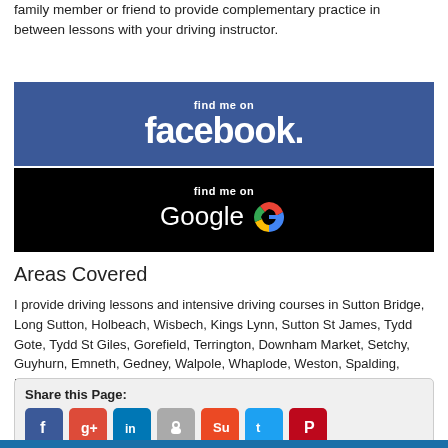family member or friend to provide complementary practice in between lessons with your driving instructor.
[Figure (other): Facebook banner: blue background with 'find me on facebook.' in white text]
[Figure (other): Google banner: black background with 'find me on Google' and Google G logo]
Areas Covered
I provide driving lessons and intensive driving courses in Sutton Bridge, Long Sutton, Holbeach, Wisbech, Kings Lynn, Sutton St James, Tydd Gote, Tydd St Giles, Gorefield, Terrington, Downham Market, Setchy, Guyhurn, Emneth, Gedney, Walpole, Whaplode, Weston, Spalding, Moulton and surrounding areas
Share this Page: